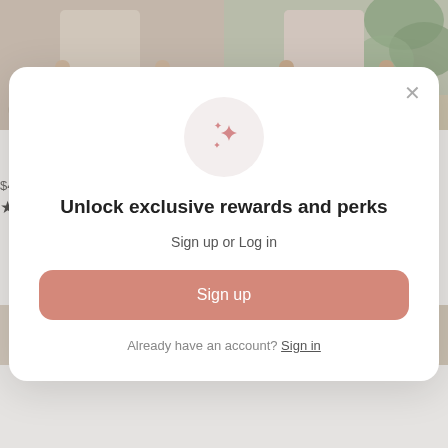[Figure (screenshot): E-commerce product listing screenshot showing two cardigans side by side with photos, names, prices, and star ratings, partially obscured by a modal popup]
Market Square Mocha Ribbed Cardigan
$49.00
★★★★★
Market Square Mauve Ribbed Cardigan
$49.00
★★★★★
Unlock exclusive rewards and perks
Sign up or Log in
Sign up
Already have an account? Sign in